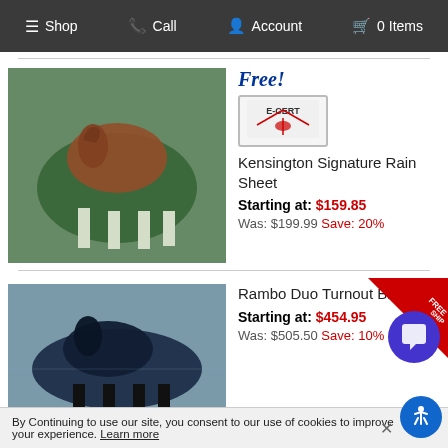Shop | Call | Account | 0 Items
[Figure (photo): Horse wearing a dark green rain sheet standing in a paddock]
Free!
[Figure (other): E-Cert gift certificate badge with red ribbon bow]
Kensington Signature Rain Sheet
Starting at: $159.85
Was: $199.99 Save: 20%
[Figure (photo): Horse wearing a dark navy blue turnout blanket standing in a paddock]
Rambo Duo Turnout Bl...
Starting at: $454.95
Was: $505.50 Save: 10%
By Continuing to use our site, you consent to our use of cookies to improve your experience. Learn more